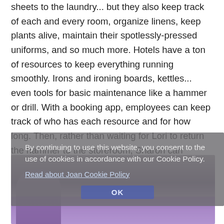sheets to the laundry... but they also keep track of each and every room, organize linens, keep plants alive, maintain their spotlessly-pressed uniforms, and so much more. Hotels have a ton of resources to keep everything running smoothly. Irons and ironing boards, kettles... even tools for basic maintenance like a hammer or drill. With a booking app, employees can keep track of who has each resource and for how long. Then, rather than waiting for Lori to return the hammer to the storeroom, Sharon can reserve the tool for the next hour and carry on her day in the meantime.
[Figure (photo): Photo of a person in a hotel/housekeeping context with purple overlay, partially obscured by cookie consent banner]
By continuing to use this website, you consent to the use of cookies in accordance with our Cookie Policy.
Read about Joan Cookie Policy
OK